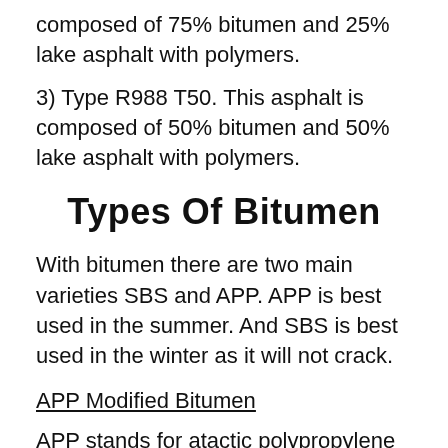composed of 75% bitumen and 25% lake asphalt with polymers.
3) Type R988 T50. This asphalt is composed of 50% bitumen and 50% lake asphalt with polymers.
Types Of Bitumen
With bitumen there are two main varieties SBS and APP. APP is best used in the summer. And SBS is best used in the winter as it will not crack.
APP Modified Bitumen
APP stands for atactic polypropylene